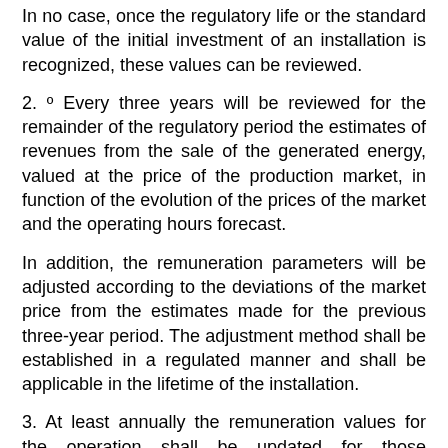In no case, once the regulatory life or the standard value of the initial investment of an installation is recognized, these values can be reviewed.
2. º Every three years will be reviewed for the remainder of the regulatory period the estimates of revenues from the sale of the generated energy, valued at the price of the production market, in function of the evolution of the prices of the market and the operating hours forecast.
In addition, the remuneration parameters will be adjusted according to the deviations of the market price from the estimates made for the previous three-year period. The adjustment method shall be established in a regulated manner and shall be applicable in the lifetime of the installation.
3. At least annually the remuneration values for the operation shall be updated for those technologies whose operating costs are essentially dependent on the price of the fuel.
5. The remuneration of the production activity shall incorporate the following concepts:
(a) The electricity negotiated through the daily and intraday